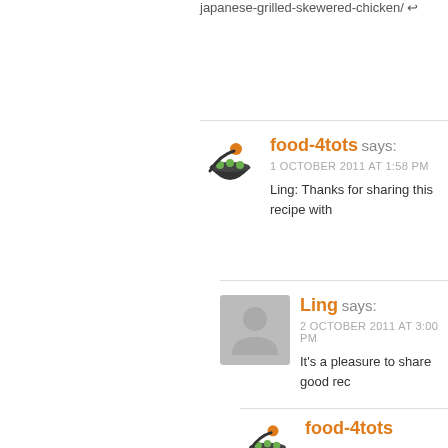japanese-grilled-skewered-chicken/ ↩
food-4tots says:
1 OCTOBER 2011 AT 1:58 PM
Ling: Thanks for sharing this recipe with
Ling says:
2 OCTOBER 2011 AT 3:00 PM
It's a pleasure to share good rec
food-4tots